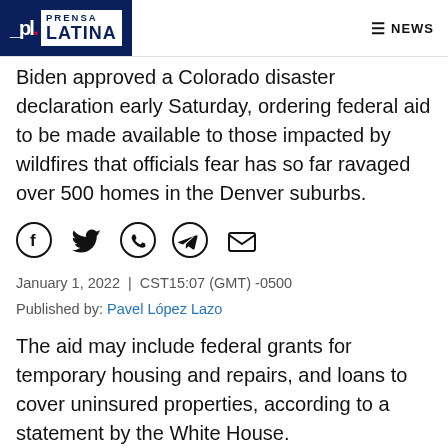Prensa Latina | NEWS
Biden approved a Colorado disaster declaration early Saturday, ordering federal aid to be made available to those impacted by wildfires that officials fear has so far ravaged over 500 homes in the Denver suburbs.
[Figure (infographic): Social share icons: Facebook, Twitter, WhatsApp, Telegram, Email]
January 1, 2022 | CST15:07 (GMT) -0500
Published by: Pavel López Lazo
The aid may include federal grants for temporary housing and repairs, and loans to cover uninsured properties, according to a statement by the White House.